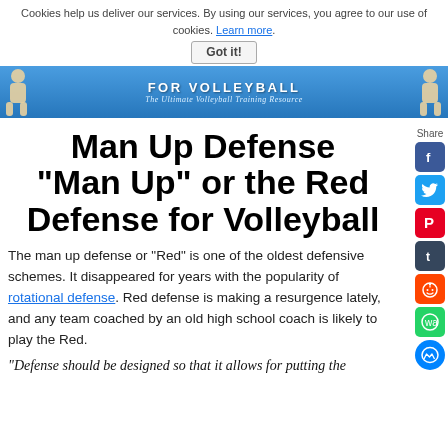Cookies help us deliver our services. By using our services, you agree to our use of cookies. Learn more. Got it!
[Figure (illustration): Website banner for a volleyball training resource site with blue gradient background, text 'FOR VOLLEYBALL' and 'The Ultimate Volleyball Training Resource', with volleyball player silhouettes on left and right sides.]
Man Up Defense
"Man Up" or the Red Defense for Volleyball
The man up defense or "Red" is one of the oldest defensive schemes. It disappeared for years with the popularity of rotational defense. Red defense is making a resurgence lately, and any team coached by an old high school coach is likely to play the Red.
"Defense should be designed so that it allows for putting the